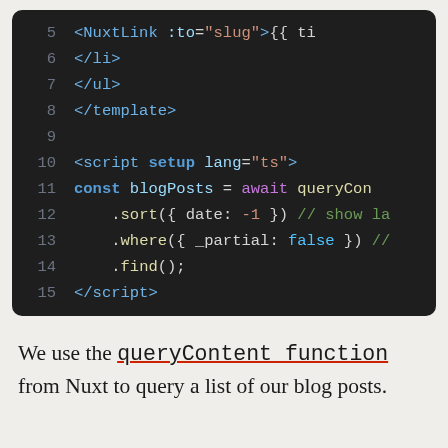[Figure (screenshot): Code editor screenshot showing lines 5-15 of a Vue/Nuxt component file with syntax highlighting on a dark background. Lines show NuxtLink tag, closing li and ul tags, closing template tag, script setup with lang=ts, const blogPosts assignment with queryContent call, .sort, .where, .find chained methods, and closing script tag.]
We use the queryContent function from Nuxt to query a list of our blog posts.